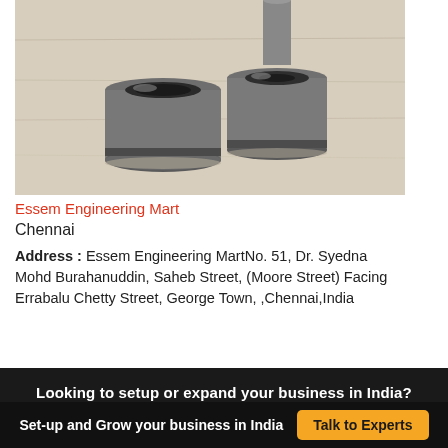[Figure (photo): Photo of two metal cylindrical drill bushings / guide bushings on a light wooden surface]
Essem Engineering Mart
Chennai
Address : Essem Engineering MartNo. 51, Dr. Syedna Mohd Burahanuddin, Saheb Street, (Moore Street) Facing Errabalu Chetty Street, George Town, ,Chennai,India
Looking to setup or expand your business in India?
Set-up and Grow your business in India   Talk to Experts